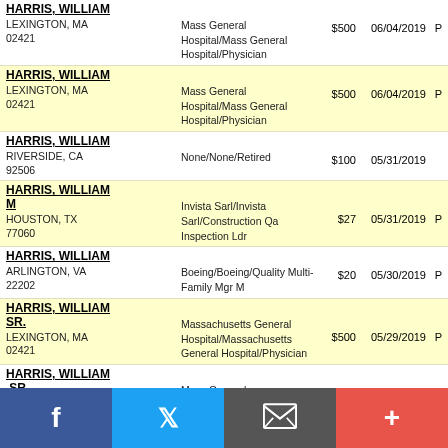HARRIS, WILLIAM
LEXINGTON, MA 02421
Mass General Hospital/Mass General Hospital/Physician
$500 06/04/2019 P
HARRIS, WILLIAM
LEXINGTON, MA 02421
Mass General Hospital/Mass General Hospital/Physician
$500 06/04/2019 P
HARRIS, WILLIAM
RIVERSIDE, CA 92506
None/None/Retired
$100 05/31/2019
HARRIS, WILLIAM M
HOUSTON, TX 77060
Invista Sarl/Invista Sarl/Construction Qa Inspection Ldr
$27 05/31/2019 P
HARRIS, WILLIAM
ARLINGTON, VA 22202
Boeing/Boeing/Quality Multi-Family Mgr M
$20 05/30/2019 P
HARRIS, WILLIAM SR.
LEXINGTON, MA 02421
Massachusetts General Hospital/Massachusetts General Hospital/Physician
$500 05/29/2019 P
HARRIS, WILLIAM ,SR.
LEXINGTON, MA 02421
Mass General Hospital/Mass General Hospital/Md
$100 05/29/2019
HARRIS, WILLIAM